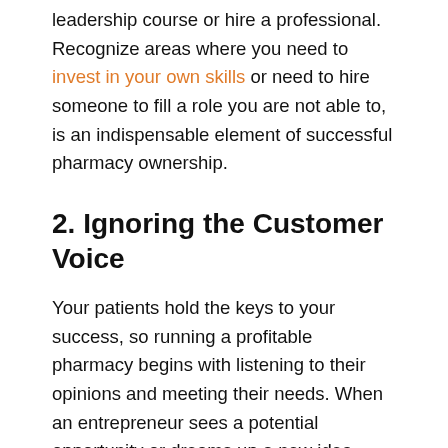leadership course or hire a professional. Recognize areas where you need to invest in your own skills or need to hire someone to fill a role you are not able to, is an indispensable element of successful pharmacy ownership.
2. Ignoring the Customer Voice
Your patients hold the keys to your success, so running a profitable pharmacy begins with listening to their opinions and meeting their needs. When an entrepreneur sees a potential opportunity or dreams up a new idea, they often retreat and stop listening to their customers and staff, but pharmacy marketing needs to be a conversation, not a one-way